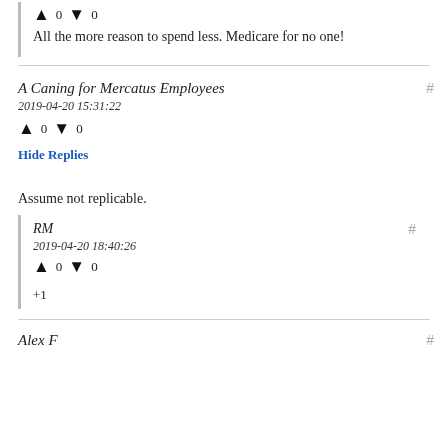All the more reason to spend less. Medicare for no one!
A Caning for Mercatus Employees
2019-04-20 15:31:22
↑ 0 ↓ 0
Hide Replies
Assume not replicable.
RM
2019-04-20 18:40:26
↑ 0 ↓ 0
+1
Alex F